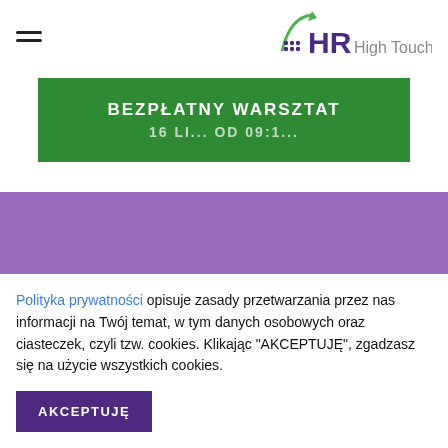[Figure (logo): HR High Touch logo with green upward arrow and purple dots, text 'HR High Touch' in purple and gray]
[Figure (other): Green banner with text 'BEZPŁATNY WARSZTAT' and partially visible subtitle text below]
[Figure (other): Purple/violet background section with hamburger menu icon in center]
Polityka prywatności opisuje zasady przetwarzania przez nas informacji na Twój temat, w tym danych osobowych oraz ciasteczek, czyli tzw. cookies. Klikając "AKCEPTUJĘ", zgadzasz się na użycie wszystkich cookies.
AKCEPTUJĘ